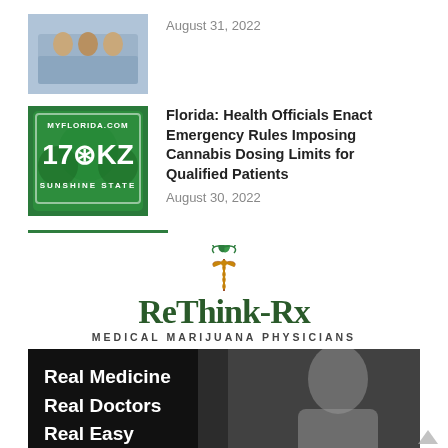[Figure (photo): Thumbnail photo showing people at a meeting table]
August 31, 2022
[Figure (photo): Florida license plate thumbnail with cannabis leaves]
Florida: Health Officials Enact Emergency Rules Imposing Cannabis Dosing Limits for Qualified Patients
August 30, 2022
[Figure (logo): ReThink-Rx Medical Marijuana Physicians logo with caduceus and cannabis leaf]
[Figure (photo): Doctor in white coat holding stethoscope with text: Real Medicine Real Doctors Real Easy]